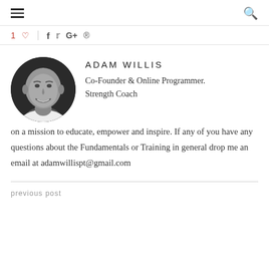≡  🔍
1 ♡  f  t  G+  ⊕
[Figure (photo): Circular black and white headshot photo of Adam Willis, a bald smiling man]
ADAM WILLIS
Co-Founder & Online Programmer. Strength Coach on a mission to educate, empower and inspire. If any of you have any questions about the Fundamentals or Training in general drop me an email at adamwillispt@gmail.com
previous post